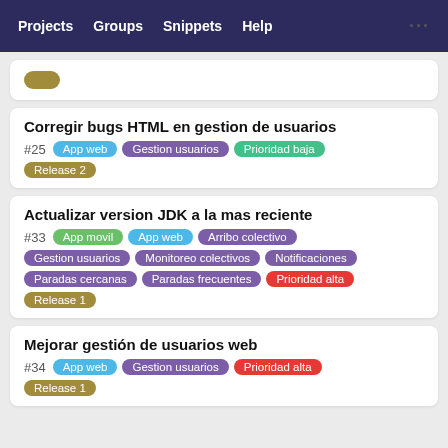Projects  Groups  Snippets  Help  ...
Corregir bugs HTML en gestion de usuarios
#25  App web  Gestion usuarios  Prioridad baja  Release 2
Actualizar version JDK a la mas reciente
#33  App movil  App web  Arribo colectivo  Gestion usuarios  Monitoreo colectivos  Notificaciones  Paradas cercanas  Paradas frecuentes  Prioridad alta  Release 1
Mejorar gestión de usuarios web
#34  App web  Gestion usuarios  Prioridad alta  Release 1